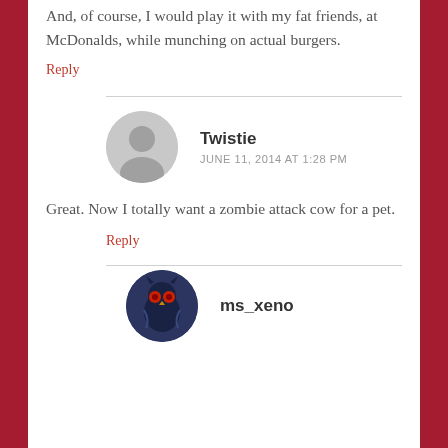And, of course, I would play it with my fat friends, at McDonalds, while munching on actual burgers.
Reply
Twistie
JUNE 11, 2014 AT 1:28 PM
Great. Now I totally want a zombie attack cow for a pet.
Reply
[Figure (illustration): Circular avatar with dark blue/navy background featuring an illustrated cartoon owl or creature with red eyes]
ms_xeno